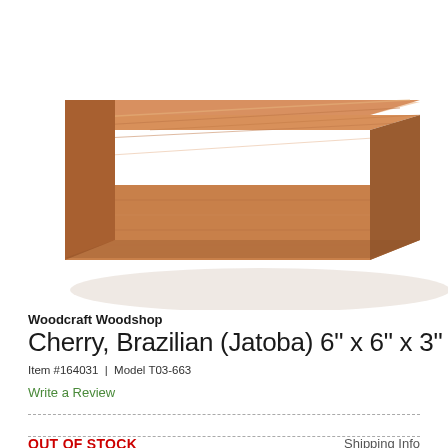[Figure (photo): Photo of a rectangular block of Brazilian Cherry (Jatoba) wood with warm reddish-brown grain, shown at a slight angle on a white background with shadow.]
Woodcraft Woodshop
Cherry, Brazilian (Jatoba) 6" x 6" x 3"
Item #164031  |  Model T03-663
Write a Review
OUT OF STOCK
Shipping Info